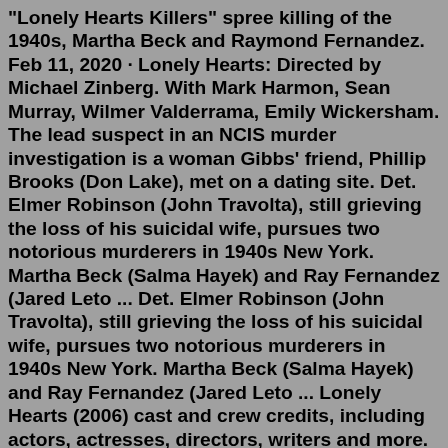"Lonely Hearts Killers" spree killing of the 1940s, Martha Beck and Raymond Fernandez. Feb 11, 2020 · Lonely Hearts: Directed by Michael Zinberg. With Mark Harmon, Sean Murray, Wilmer Valderrama, Emily Wickersham. The lead suspect in an NCIS murder investigation is a woman Gibbs' friend, Phillip Brooks (Don Lake), met on a dating site. Det. Elmer Robinson (John Travolta), still grieving the loss of his suicidal wife, pursues two notorious murderers in 1940s New York. Martha Beck (Salma Hayek) and Ray Fernandez (Jared Leto ... Det. Elmer Robinson (John Travolta), still grieving the loss of his suicidal wife, pursues two notorious murderers in 1940s New York. Martha Beck (Salma Hayek) and Ray Fernandez (Jared Leto ... Lonely Hearts (2006) cast and crew credits, including actors, actresses, directors, writers and more. Menu. Movies. Release Calendar Top 250 Movies Most Popular ... Lonely Hearts Animal Rescue is a small, non-profit (501c3) rescue group made up of a network of foster homes located in Frederick Maryland. All of our animals ...